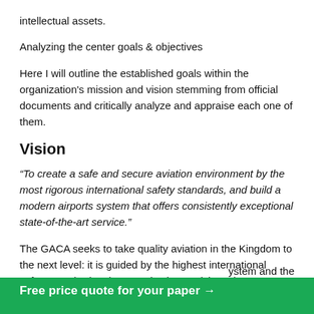intellectual assets.
Analyzing the center goals & objectives
Here I will outline the established goals within the organization's mission and vision stemming from official documents and critically analyze and appraise each one of them.
Vision
“To create a safe and secure aviation environment by the most rigorous international safety standards, and build a modern airports system that offers consistently exceptional state-of-the-art service.”
The GACA seeks to take quality aviation in the Kingdom to the next level: it is guided by the highest international safety standards. The organization envisions the
ystem and the
Free price quote for your paper →